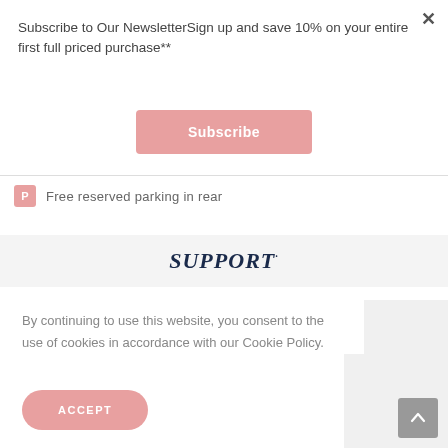Subscribe to Our NewsletterSign up and save 10% on your entire first full priced purchase**
Subscribe
Free reserved parking in rear
SUPPORT
By continuing to use this website, you consent to the use of cookies in accordance with our Cookie Policy.
ACCEPT